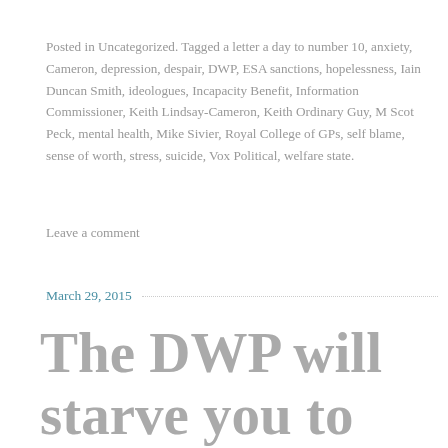Posted in Uncategorized. Tagged a letter a day to number 10, anxiety, Cameron, depression, despair, DWP, ESA sanctions, hopelessness, Iain Duncan Smith, ideologues, Incapacity Benefit, Information Commissioner, Keith Lindsay-Cameron, Keith Ordinary Guy, M Scot Peck, mental health, Mike Sivier, Royal College of GPs, self blame, sense of worth, stress, suicide, Vox Political, welfare state.
Leave a comment
March 29, 2015
The DWP will starve you to death for trying to pay for your